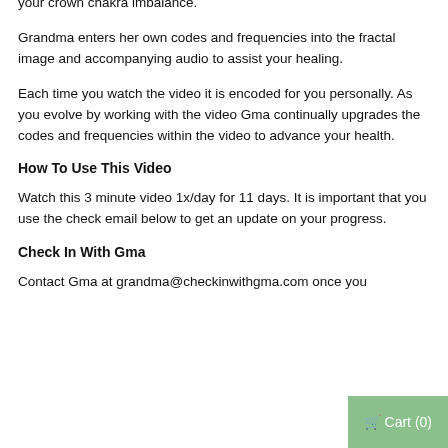your light field aka your Aura and correcting or releasing the cause of your crown chakra imbalance.
Grandma enters her own codes and frequencies into the fractal image and accompanying audio to assist your healing.
Each time you watch the video it is encoded for you personally. As you evolve by working with the video Gma continually upgrades the codes and frequencies within the video to advance your health.
How To Use This Video
Watch this 3 minute video 1x/day for 11 days. It is important that you use the check email below to get an update on your progress.
Check In With Gma
Contact Gma at grandma@checkinwithgma.com once you